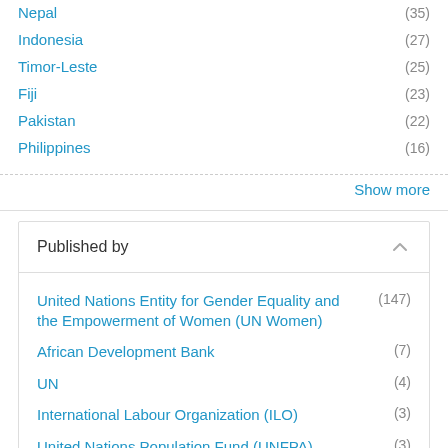Nepal (35)
Indonesia (27)
Timor-Leste (25)
Fiji (23)
Pakistan (22)
Philippines (16)
Show more
Published by
United Nations Entity for Gender Equality and the Empowerment of Women (UN Women) (147)
African Development Bank (7)
UN (4)
International Labour Organization (ILO) (3)
United Nations Population Fund (UNFPA) (3)
Agencies/entities (2)
United Nations Educational, Scientific and Cultural Organization (UNESCO) (1)